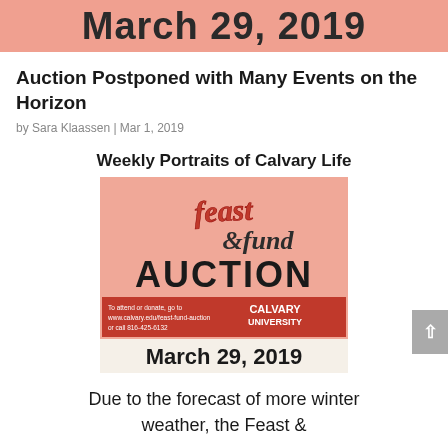March 29, 2019
Auction Postponed with Many Events on the Horizon
by Sara Klaassen | Mar 1, 2019
Weekly Portraits of Calvary Life
[Figure (illustration): Feast & Fund Auction promotional image for Calvary University, March 29, 2019. Pink background with stylized 'feast & fund' text in decorative lettering, 'AUCTION' in large bold black text, a red banner reading 'To attend or donate, go to www.calvary.edu/feast-fund-auction or call 816-425-6132' with Calvary University logo, and 'March 29, 2019' at the bottom in bold dark text.]
Due to the forecast of more winter weather, the Feast &